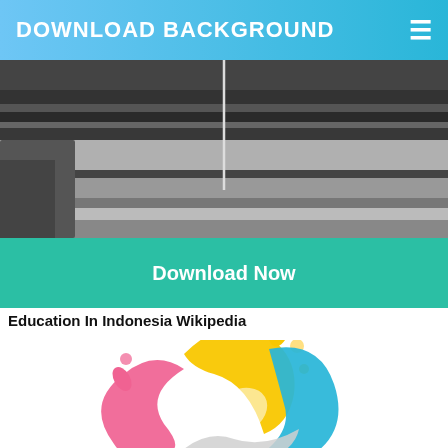DOWNLOAD BACKGROUND
[Figure (photo): Black and white photograph of a landscape with horizontal layers, possibly geological strata or an aerial view of terrain with a vertical line/pole in the center.]
Download Now
Education In Indonesia Wikipedia
[Figure (logo): Colorful swirling ink splash logo with pink, yellow, blue, and gray colors forming a circular swirl pattern.]